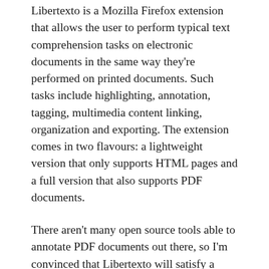Libertexto is a Mozilla Firefox extension that allows the user to perform typical text comprehension tasks on electronic documents in the same way they're performed on printed documents. Such tasks include highlighting, annotation, tagging, multimedia content linking, organization and exporting. The extension comes in two flavours: a lightweight version that only supports HTML pages and a full version that also supports PDF documents.
There aren't many open source tools able to annotate PDF documents out there, so I'm convinced that Libertexto will satisfy a growing demand for this feature. To accomplish the goal, some customizations have been developed on top of Evince 2.28.0 to make it able to communicate with the Firefox extension and to manage the document annotations both in Windows and in GNU/Linux.